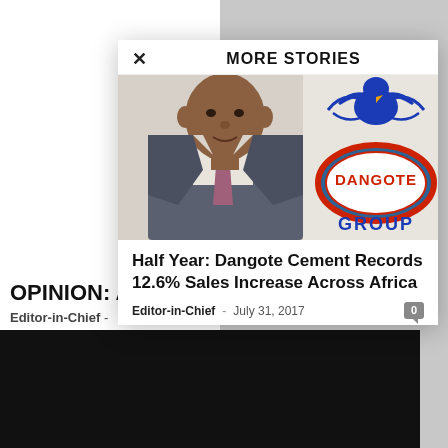MORE STORIES
[Figure (photo): Photo of Aliko Dangote in a suit with Dangote Group logo]
Half Year: Dangote Cement Records 12.6% Sales Increase Across Africa
Editor-in-Chief  -  July 31, 2017
OPINION: A
Editor-in-Chief -